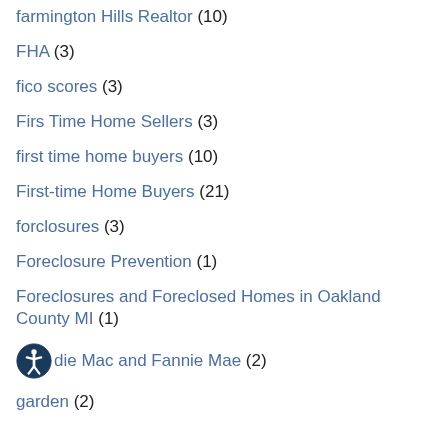farmington Hills Realtor (10)
FHA (3)
fico scores (3)
Firs Time Home Sellers (3)
first time home buyers (10)
First-time Home Buyers (21)
forclosures (3)
Foreclosure Prevention (1)
Foreclosures and Foreclosed Homes in Oakland County MI (1)
Freddie Mac and Fannie Mae (2)
garden (2)